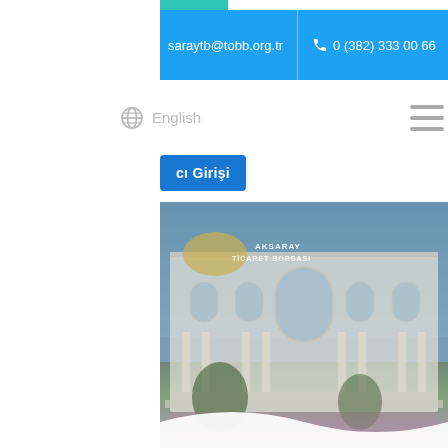saraytb@tobb.org.tr
0 (382) 333 00 66
English
cı Girişi
[Figure (photo): Exterior photograph of Aksaray Ticaret Borsası (commodity exchange) building — a white neoclassical structure with arched windows, columns, domed roof feature, and flowering landscaping in the foreground. Building signage reads 'AKSARAY TİCARET BORSASI'.]